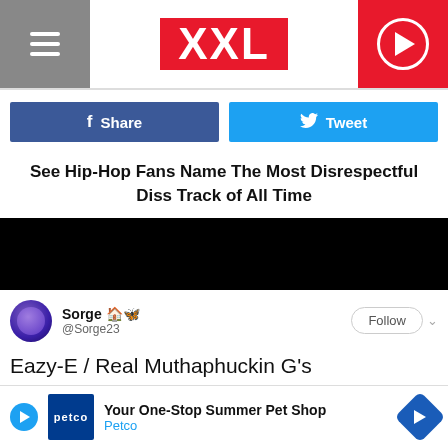XXL
Share | Tweet
See Hip-Hop Fans Name The Most Disrespectful Diss Track of All Time
[Figure (other): Black video player area]
Sorge 🏠🦋 @Sorge23
Eazy-E / Real Muthaphuckin G's
XXL Magazine @XXL What's...
2:37 PM
[Figure (other): Petco ad: Your One-Stop Summer Pet Shop]